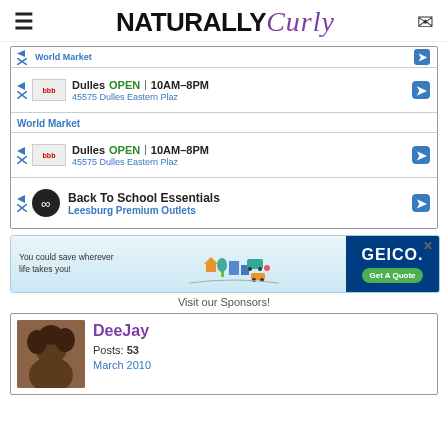NATURALLY Curly
[Figure (screenshot): Advertisement showing World Market store listings with Dulles location, OPEN 10AM-8PM, 45575 Dulles Eastern Plaz, and a Back To School Essentials ad for Leesburg Premium Outlets]
[Figure (screenshot): GEICO advertisement: You could save wherever life takes you! Get A Quote]
Visit our Sponsors!
DeeJay
Posts: 53
March 2010